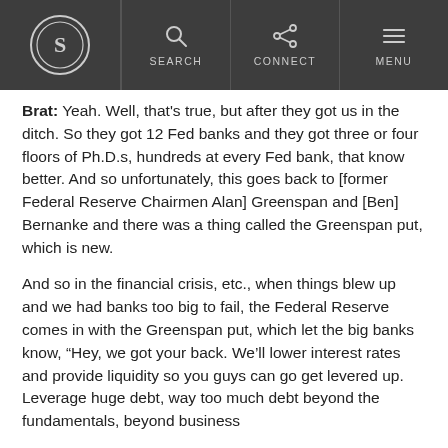S [logo] | SEARCH | CONNECT | MENU
Brat: Yeah. Well, that's true, but after they got us in the ditch. So they got 12 Fed banks and they got three or four floors of Ph.D.s, hundreds at every Fed bank, that know better. And so unfortunately, this goes back to [former Federal Reserve Chairmen Alan] Greenspan and [Ben] Bernanke and there was a thing called the Greenspan put, which is new.

And so in the financial crisis, etc., when things blew up and we had banks too big to fail, the Federal Reserve comes in with the Greenspan put, which let the big banks know, “Hey, we got your back. We’ll lower interest rates and provide liquidity so you guys can go get levered up. Leverage huge debt, way too much debt beyond the fundamentals, beyond business